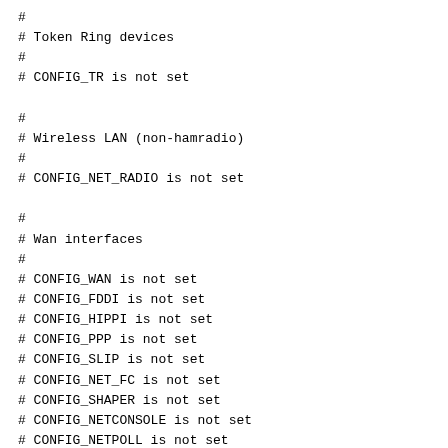#
# Token Ring devices
#
# CONFIG_TR is not set

#
# Wireless LAN (non-hamradio)
#
# CONFIG_NET_RADIO is not set

#
# Wan interfaces
#
# CONFIG_WAN is not set
# CONFIG_FDDI is not set
# CONFIG_HIPPI is not set
# CONFIG_PPP is not set
# CONFIG_SLIP is not set
# CONFIG_NET_FC is not set
# CONFIG_SHAPER is not set
# CONFIG_NETCONSOLE is not set
# CONFIG_NETPOLL is not set
# CONFIG_NET_POLL_CONTROLLER is not set

#
# ISDN subsystem
#
# CONFIG_ISDN is not set

#